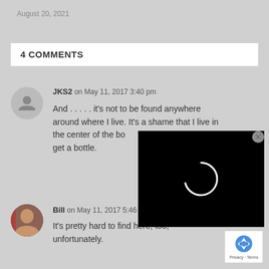August 20, 2021
4 COMMENTS
JKS2 on May 11, 2017 3:40 pm
And . . . . . it's not to be found anywhere around where I live. It's a shame that I live in the center of the bo... get a bottle.
[Figure (other): Black video loading overlay with spinning circle indicator and close button (X)]
Bill on May 11, 2017 5:46 pm
It's pretty hard to find here, too, unfortunately.
[Figure (logo): reCAPTCHA logo badge with Privacy - Terms text]